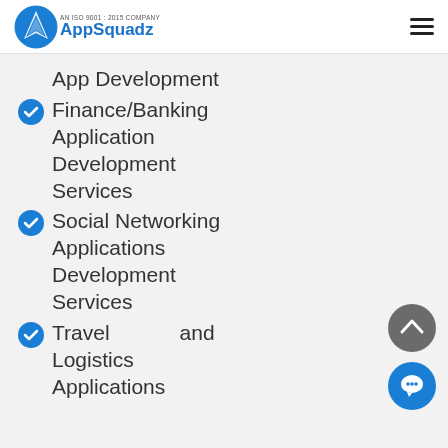AppSquadz - AN ISO 9001:2015 COMPANY
App Development
Finance/Banking Application Development Services
Social Networking Applications Development Services
Travel and Logistics Applications